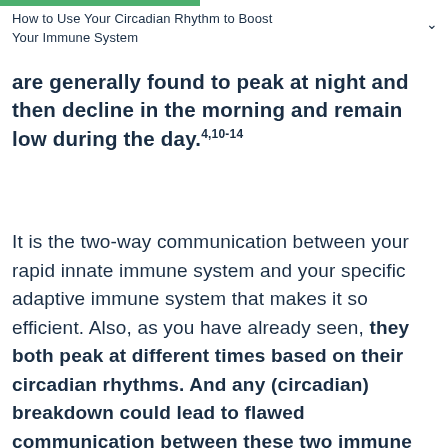How to Use Your Circadian Rhythm to Boost Your Immune System
are generally found to peak at night and then decline in the morning and remain low during the day.4,10-14
It is the two-way communication between your rapid innate immune system and your specific adaptive immune system that makes it so efficient. Also, as you have already seen, they both peak at different times based on their circadian rhythms. And any (circadian) breakdown could lead to flawed communication between these two immune systems. Which, in turn, could